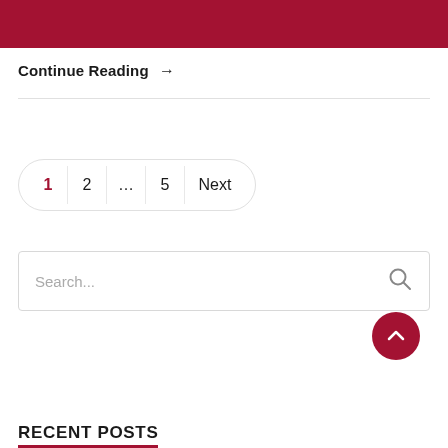Continue Reading →
1  2  ...  5  Next
Search...
RECENT POSTS